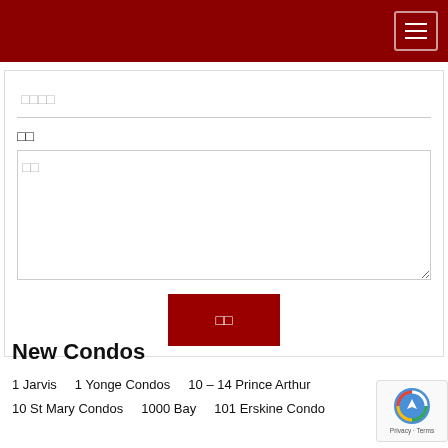[Figure (screenshot): Dark red header navigation bar with hamburger menu button (three horizontal lines) in top right corner]
□□□□
□□
□□
□□
New Condos
1 Jarvis    1 Yonge Condos    10 – 14 Prince Arthur
10 St Mary Condos    1000 Bay    101 Erskine Condo